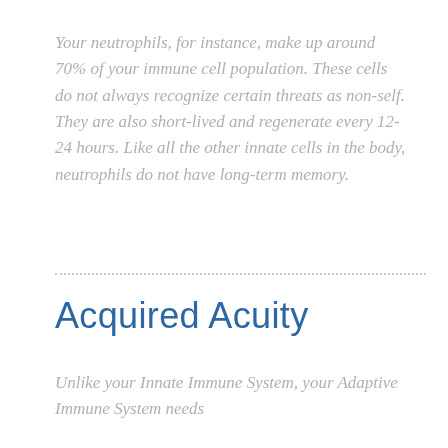Your neutrophils, for instance, make up around 70% of your immune cell population. These cells do not always recognize certain threats as non-self. They are also short-lived and regenerate every 12-24 hours. Like all the other innate cells in the body, neutrophils do not have long-term memory.
Acquired Acuity
Unlike your Innate Immune System, your Adaptive Immune System needs